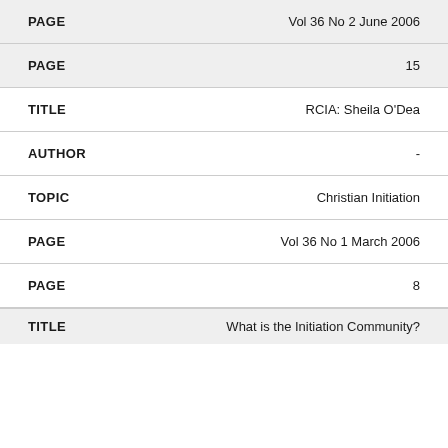| Field | Value |
| --- | --- |
| PAGE | Vol 36 No 2 June 2006 |
| PAGE | 15 |
| TITLE | RCIA: Sheila O'Dea |
| AUTHOR | - |
| TOPIC | Christian Initiation |
| PAGE | Vol 36 No 1 March 2006 |
| PAGE | 8 |
| TITLE | What is the Initiation Community? |